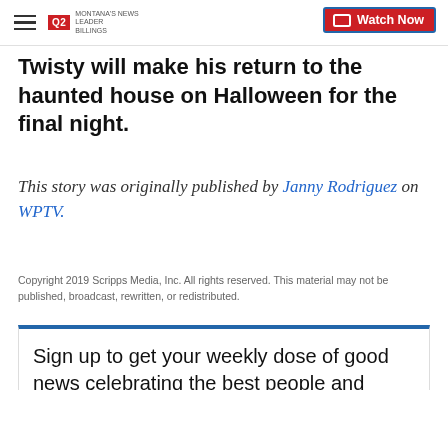Q2 Montana's News Leader Billings | Watch Now
Twisty will make his return to the haunted house on Halloween for the final night.
This story was originally published by Janny Rodriguez on WPTV.
Copyright 2019 Scripps Media, Inc. All rights reserved. This material may not be published, broadcast, rewritten, or redistributed.
Sign up to get your weekly dose of good news celebrating the best people and places in the Bluegrass! It's free and delivered right to your inbox!